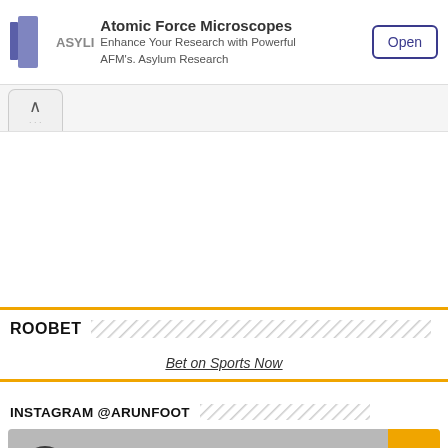[Figure (screenshot): Ad banner for Atomic Force Microscopes by Asylum Research with logo, text, and Open button]
[Figure (screenshot): Collapse/chevron tab UI element with up arrow and dots]
ROOBET
Bet on Sports Now
INSTAGRAM @ARUNFOOT
[Figure (screenshot): Instagram card showing arunfoot username with Instagram icon and orange scroll-to-top button]